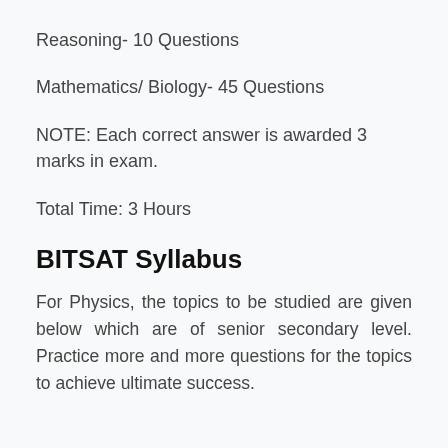Reasoning- 10 Questions
Mathematics/ Biology- 45 Questions
NOTE: Each correct answer is awarded 3 marks in exam.
Total Time: 3 Hours
BITSAT Syllabus
For Physics, the topics to be studied are given below which are of senior secondary level. Practice more and more questions for the topics to achieve ultimate success.